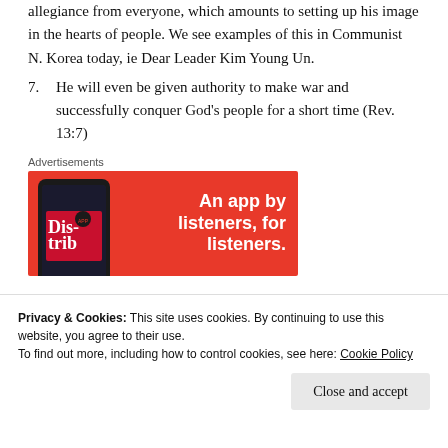allegiance from everyone, which amounts to setting up his image in the hearts of people. We see examples of this in Communist N. Korea today, ie Dear Leader Kim Young Un.
7. He will even be given authority to make war and successfully conquer God's people for a short time (Rev. 13:7)
Advertisements
[Figure (photo): Red advertisement banner for a podcast/audio app reading 'An app by listeners, for listeners.' with a phone showing 'Distrib' app on the left side.]
Privacy & Cookies: This site uses cookies. By continuing to use this website, you agree to their use.
To find out more, including how to control cookies, see here: Cookie Policy
Close and accept